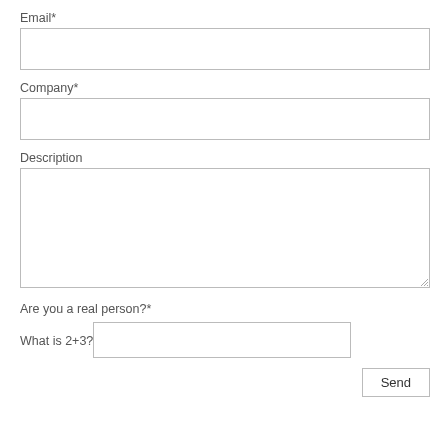Email*
[Figure (other): Empty text input field for Email]
Company*
[Figure (other): Empty text input field for Company]
Description
[Figure (other): Empty textarea input field for Description with resize handle]
Are you a real person?*
What is 2+3?
[Figure (other): Empty text input field for captcha answer]
Send